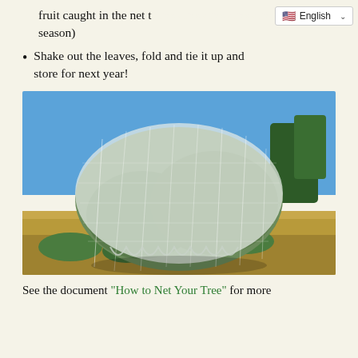fruit caught in the net t… season)
Shake out the leaves, fold and tie it up and store for next year!
[Figure (photo): A large fruit tree completely covered in white protective netting, outdoors against a blue sky with trees in the background and dry grass in the foreground.]
See the document “How to Net Your Tree” for more